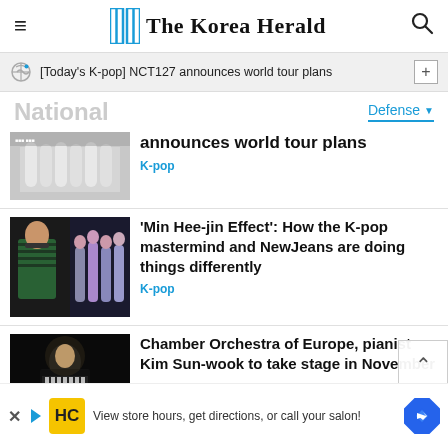The Korea Herald
[Today's K-pop] NCT127 announces world tour plans
National
Defense
[Figure (photo): NCT127 group photo - announces world tour plans]
announces world tour plans
K-pop
[Figure (photo): Min Hee-jin and NewJeans group photo]
'Min Hee-jin Effect': How the K-pop mastermind and NewJeans are doing things differently
K-pop
[Figure (photo): Kim Sun-wook pianist performing on stage]
Chamber Orchestra of Europe, pianist Kim Sun-wook to take stage in November
View store hours, get directions, or call your salon!